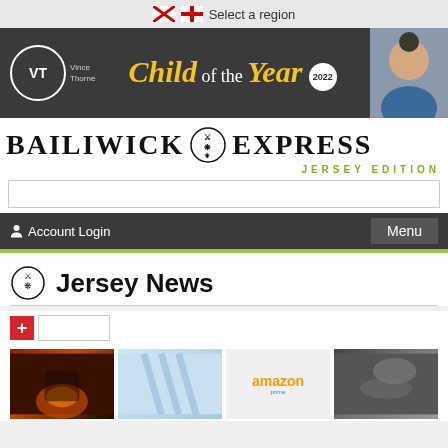Select a region
[Figure (illustration): Vince Thorne Child of the Year 2022 banner advertisement with a child photo on the right]
BAILIWICK EXPRESS JERSEY EDITION
Account Login  Menu
Jersey News